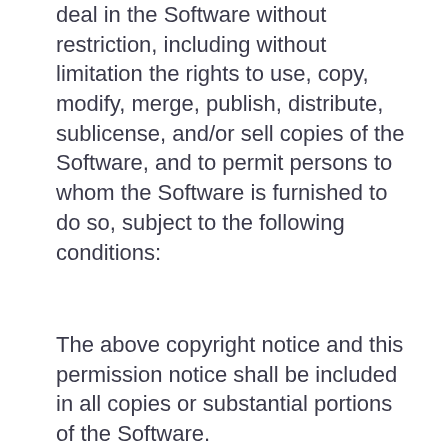deal in the Software without restriction, including without limitation the rights to use, copy, modify, merge, publish, distribute, sublicense, and/or sell copies of the Software, and to permit persons to whom the Software is furnished to do so, subject to the following conditions:
The above copyright notice and this permission notice shall be included in all copies or substantial portions of the Software.
THE SOFTWARE IS PROVIDED "AS IS", WITHOUT WARRANTY OF ANY KIND, EXPRESS OR IMPLIED, INCLUDING BUT NOT LIMITED TO THE WARRANTIES OF MERCHANTABILITY, FITNESS FOR A PARTICULAR PURPOSE AND NONINFRINGEMENT. IN NO EVENT SHALL THE AUTHORS OR COPYRIGHT HOLDERS BE LIABLE FOR ANY CLAIM, DAMAGES OR OTHER LIABILITY, WHETHER IN AN ACTION OF CONTRACT, TORT OR OTHERWISE, ARISING FROM, OUT OF OR IN